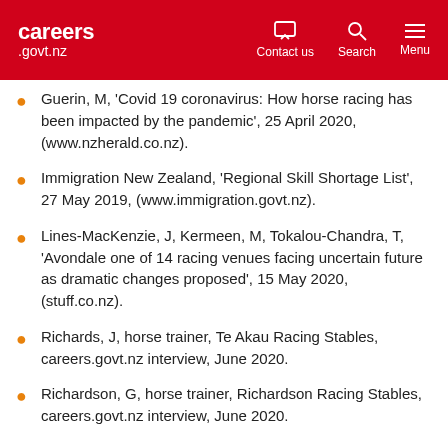careers .govt.nz — Contact us | Search | Menu
Guerin, M, 'Covid 19 coronavirus: How horse racing has been impacted by the pandemic', 25 April 2020, (www.nzherald.co.nz).
Immigration New Zealand, 'Regional Skill Shortage List', 27 May 2019, (www.immigration.govt.nz).
Lines-MacKenzie, J, Kermeen, M, Tokalou-Chandra, T, 'Avondale one of 14 racing venues facing uncertain future as dramatic changes proposed', 15 May 2020, (stuff.co.nz).
Richards, J, horse trainer, Te Akau Racing Stables, careers.govt.nz interview, June 2020.
Richardson, G, horse trainer, Richardson Racing Stables, careers.govt.nz interview, June 2020.